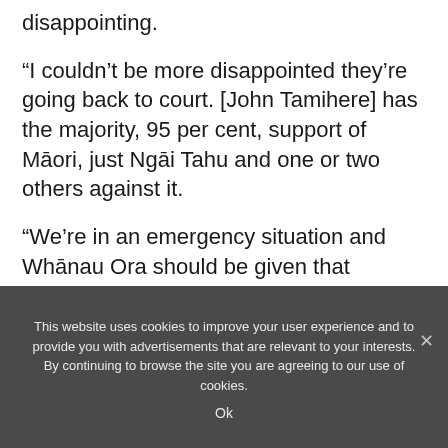disappointing.
“I couldn’t be more disappointed they’re going back to court. [John Tamihere] has the majority, 95 per cent, support of Māori, just Ngāi Tahu and one or two others against it.
“We’re in an emergency situation and Whānau Ora should be given that information.”
This website uses cookies to improve your user experience and to provide you with advertisements that are relevant to your interests. By continuing to browse the site you are agreeing to our use of cookies.
Ok